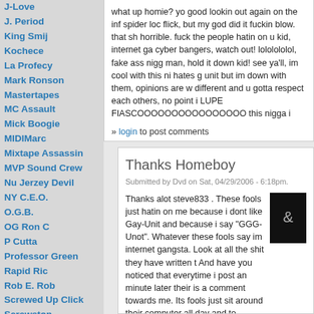J-Love
J. Period
King Smij
Kochece
La Profecy
Mark Ronson
Mastertapes
MC Assault
Mick Boogie
MIDIMarc
Mixtape Assassin
MVP Sound Crew
Nu Jerzey Devil
NY C.E.O.
O.G.B.
OG Ron C
P Cutta
Professor Green
Rapid Ric
Rob E. Rob
Screwed Up Click
Screwston
Selector Rondon
September 7th
Shiest Bubz
Sinister Shan
Soundwave
Southern Style DJs
Statik Selektah
Street Pharmacy
Suge White
Supa Mario
Superstar Joy
what up homie? yo good lookin out again on the inf spider loc flick, but my god did it fuckin blow. that shit was horrible. fuck the people hatin on u kid, internet gangsta cyber bangers, watch out! lololololol, fake ass niggas man, hold it down kid! see ya'll, im cool with this nigga, he hates g unit but im down with them, opinions are what make different and u gotta respect each others, no point in LUPE FIASCOOOOOOOOOOOOOOOO this nigga i
» login to post comments
Thanks Homeboy
Submitted by Dvd on Sat, 04/29/2006 - 6:18pm.
Thanks alot steve833 . These fools just hatin on me because i dont like Gay-Unit and because i say "GGG-Unot". Whatever these fools say im internet gangsta. Look at all the shit they have written t And have you noticed that everytime i post an minute later their is a comment towards me. Its fools just sit around their computer all day and to comment so then they could talk shit. Thats internet gangsta is. These fools can be interne they want. I just come to download tapes and c them. Yeah fool. I told you that spider joke dvd Thanks for the respect. For you haters out the